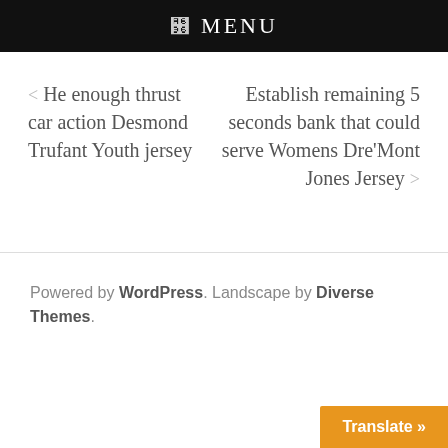ꬴ MENU
< He enough thrust car action Desmond Trufant Youth jersey
Establish remaining 5 seconds bank that could serve Womens Dre'Mont Jones Jersey >
Powered by WordPress. Landscape by Diverse Themes.
Translate »